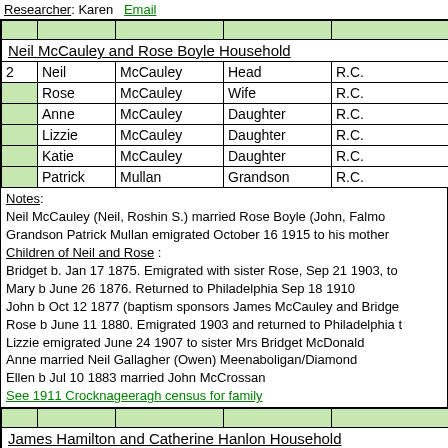Researcher: Karen   Email
|  |  |  |  |  |
| --- | --- | --- | --- | --- |
|  |  |  |  |  |
| Neil McCauley and Rose Boyle Household |  |  |  |  |
| 2 | Neil | McCauley | Head | R.C. |
|  | Rose | McCauley | Wife | R.C. |
|  | Anne | McCauley | Daughter | R.C. |
|  | Lizzie | McCauley | Daughter | R.C. |
|  | Katie | McCauley | Daughter | R.C. |
|  | Patrick | Mullan | Grandson | R.C. |
Notes:
Neil McCauley (Neil, Roshin S.) married Rose Boyle (John, Falmo...
Grandson Patrick Mullan emigrated October 16 1915 to his mother...
Children of Neil and Rose :
Bridget b. Jan 17 1875. Emigrated with sister Rose, Sep 21 1903, to...
Mary b June 26 1876. Returned to Philadelphia Sep 18 1910
John b Oct 12 1877 (baptism sponsors James McCauley and Bridge...
Rose b June 11 1880. Emigrated 1903 and returned to Philadelphia t...
Lizzie emigrated June 24 1907 to sister Mrs Bridget McDonald
Anne married Neil Gallagher (Owen) Meenaboligan/Diamond
Ellen b Jul 10 1883 married John McCrossan
See 1911 Crocknageeragh census for family
|  |  |  |  |  |
| --- | --- | --- | --- | --- |
|  |  |  |  |  |
| James Hamilton and Catherine Hanlon Household |  |  |  |  |
| 3 | James | Hamilton | Head | C of I |